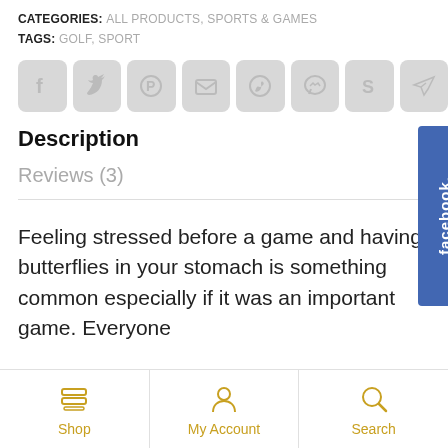CATEGORIES: ALL PRODUCTS, SPORTS & GAMES
TAGS: GOLF, SPORT
[Figure (other): Row of social share icon buttons: Facebook, Twitter, Pinterest, Email, WhatsApp, Messenger, Skype, Telegram]
[Figure (other): Facebook sidebar tab button on the right side]
Description
Reviews (3)
Feeling stressed before a game and having butterflies in your stomach is something common especially if it was an important game. Everyone
[Figure (other): Bottom navigation bar with Shop, My Account, and Search icons in gold/yellow]